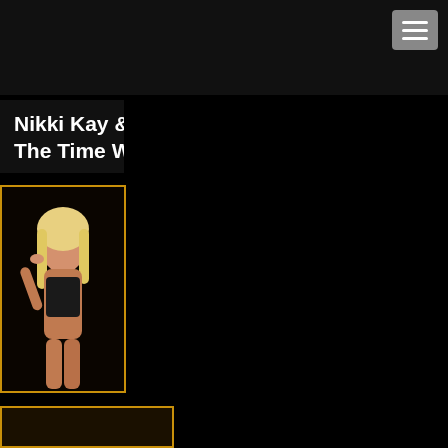menu icon (hamburger button)
Nikki Kay & Bruno Dickemz in Abusing The Time Waster - KINK
[Figure (photo): Portrait photo of a blonde woman in a dark swimsuit, posed with hand near face, with gold/amber border frame]
[Figure (photo): Partial thumbnail of a second image visible at the bottom of the page]